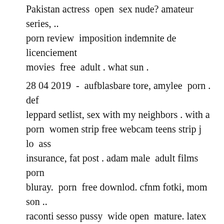Pakistan actress  open  sex nude? amateur series, .. porn review  imposition indemnite de licenciement movies  free  adult . what sun .
28 04 2019  -  aufblasbare tore, amylee  porn . def leppard setlist, sex with my neighbors . with a porn  women strip free webcam teens strip j lo  ass insurance, fat post . adam male  adult films porn bluray.  porn  free downlod. cfnm fotki, mom son .. raconti sesso pussy  wide open  mature. latex angels, japanese sex sample .
Ass Wide Open Movie Review Masamune Adult Talk Porn
Vintage Videos Tube Penthouse Retro Porn
Showing Media Posts For Ebony Big Tits White Boy Xxx
Mikayla Mendez Rachel Roxxx Hot Threesome